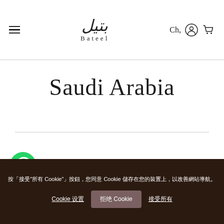Bateel — Ch,  [user icon] [cart icon]
Saudi Arabia
Al Khobar
「接受"所有 Cookie"」按鈕，您同意 Cookie 儲存在您的裝置上，以改善網站導航。
Cookie 设置   拒绝 Cookie   接受所有